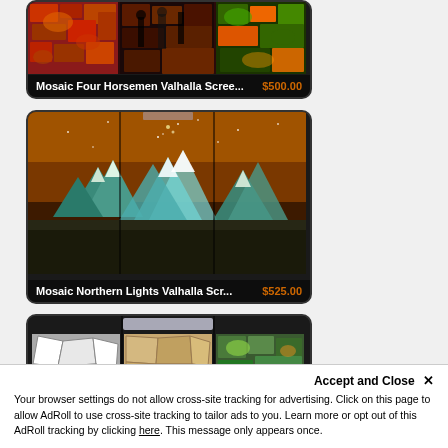[Figure (photo): Product card showing Mosaic Four Horsemen Valhalla Screen artwork with colorful mosaic panels in red, orange, green tones. Price label shows $500.00]
[Figure (photo): Product card showing Mosaic Northern Lights Valhalla Screen artwork with mountain silhouettes in teal/white against amber background. Price label shows $525.00]
[Figure (photo): Product card showing a mosaic screen artwork with white cell-like mosaic pattern, tan/gold stone-like tiles, and green floral panels]
Accept and Close ✕
Your browser settings do not allow cross-site tracking for advertising. Click on this page to allow AdRoll to use cross-site tracking to tailor ads to you. Learn more or opt out of this AdRoll tracking by clicking here. This message only appears once.